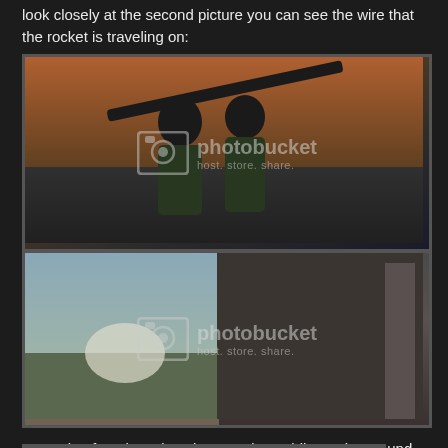look closely at the second picture you can see the wire that the rocket is traveling on:
[Figure (photo): Photo of two soldiers in camouflage holding a rocket launcher, with a photobucket watermark overlay]
[Figure (photo): Split photo showing an outdoor scene on the left (smoke/explosion) and an indoor scene with a person on the right, with a photobucket watermark overlay]
A couple of students knock a Russian soldier to the ground, and during the scuffle you can see that the rifle is made of rubber:
[Figure (photo): Partial photo at bottom of page showing a close-up scene]